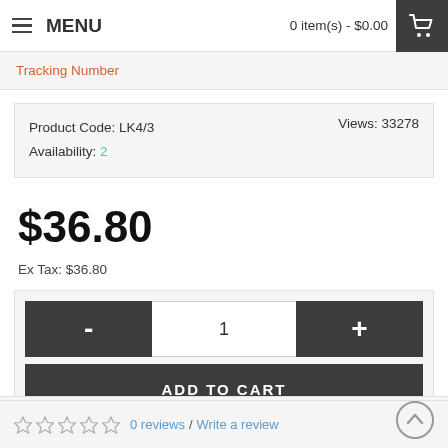MENU   0 item(s) - $0.00
Tracking Number
Product Code: LK4/3   Views: 33278
Availability: 2
$36.80
Ex Tax: $36.80
-   1   +
ADD TO CART
♥ Add to Wish List
☆ ☆ ☆ ☆ ☆   0 reviews / Write a review